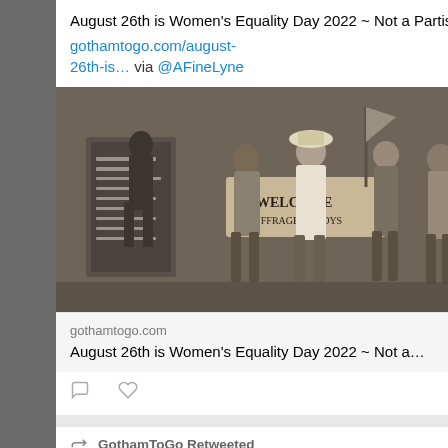August 26th is Women's Equality Day 2022 ~ Not a Partisan Issue gothamtogo.com/august-26th-is… via @AFineLyne
[Figure (photo): Black and white historical photograph of women holding suffrage banners including one reading 'Welcome Suffrage Envoys']
gothamtogo.com
August 26th is Women's Equality Day 2022 ~ Not a...
GothamToGo Retweeted
TheCom... @C... · 12h